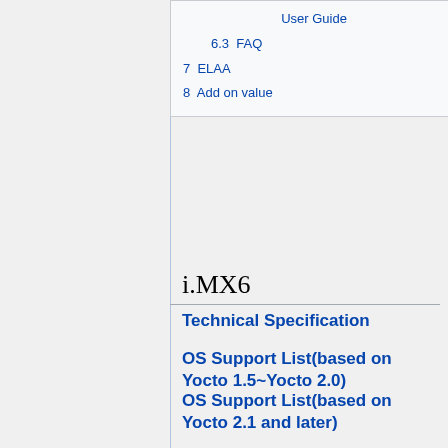User Guide
6.3  FAQ
7  ELAA
8  Add on value
i.MX6
Technical Specification
OS Support List(based on Yocto 1.5~Yocto 2.0)
OS Support List(based on Yocto 2.1 and later)
DDR Support List
Version 3 (based on Yocto 1.5) User Guide
Eclipse Plug-in